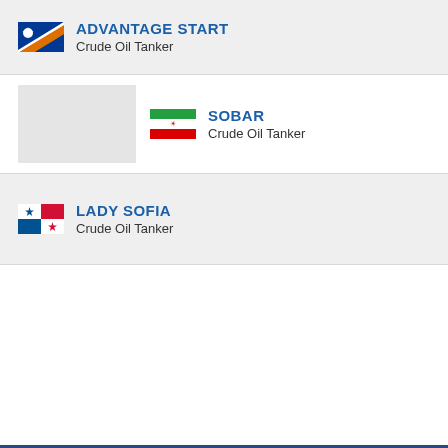ADVANTAGE START — Crude Oil Tanker
SOBAR — Crude Oil Tanker
LADY SOFIA — Crude Oil Tanker
DISCLAIMER
ADVANTAGE SPRING current position and history of port calls are received by AIS. Technical specifications, tonnages and management details are derived from VesselFinder database. The data is for informational purposes only and VesselFinder is not